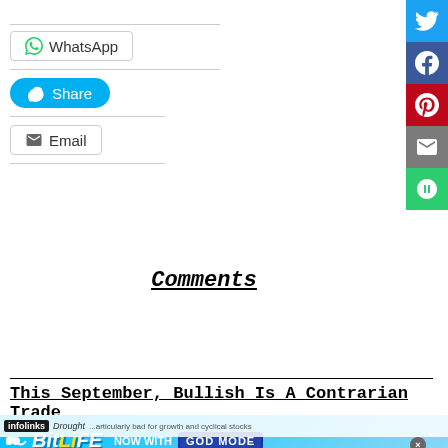[Figure (screenshot): Social share buttons: WhatsApp (white button with border), Skype Share (cyan/blue pill button), Email (white button with border), with divider lines between each]
[Figure (screenshot): Right sidebar with social share icons: Twitter (blue), Facebook (dark blue), Pinterest (red), Email (gray), More (green)]
Comments
This September, Bullish Is A Contrarian Trade
[Figure (screenshot): Infolinks advertisement banner for BitLife game - NOW WITH GOD MODE, light blue background with cartoon hands and lightning bolt]